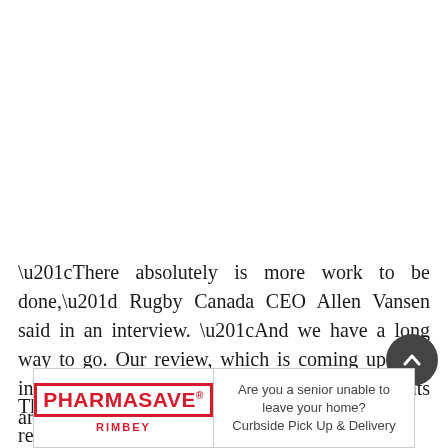“There absolutely is more work to be done,” Rugby Canada CEO Allen Vansen said in an interview. “And we have a long way to go. Our review, which is coming up, will initiate that now that our Olympics tournaments are over.”
That includes ensuring Inclusivity and respect, which ha
[Figure (other): Scroll-to-top circular button (dark grey circle with upward chevron arrow)]
[Figure (other): Pharmasave Rimbey advertisement banner. Left side: PHARMASAVE logo in red box with RIMBEY text below. Right side text: Are you a senior unable to leave your home? Curbside Pick Up & Delivery]